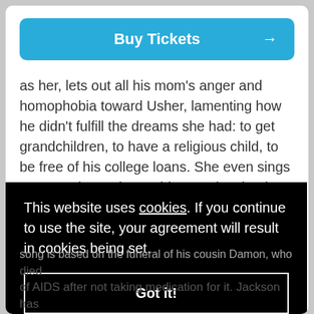[Figure (other): Blue 'Buy Tickets' button with right arrow]
as her, lets out all his mom's anger and homophobia toward Usher, lamenting how he didn't fulfill the dreams she had: to get grandchildren, to have a religious child, to be free of his college loans. She even sings at one point, "Why couldn't you just be the
rth her id if at
This website uses cookies. If you continue to use the site, your agreement will result in cookies being set.
Got it!
died of AIDS after not taking medication for it. Jackson has